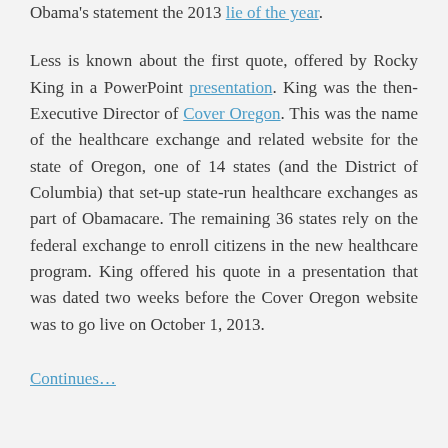Obama's statement the 2013 lie of the year.
Less is known about the first quote, offered by Rocky King in a PowerPoint presentation. King was the then-Executive Director of Cover Oregon. This was the name of the healthcare exchange and related website for the state of Oregon, one of 14 states (and the District of Columbia) that set-up state-run healthcare exchanges as part of Obamacare. The remaining 36 states rely on the federal exchange to enroll citizens in the new healthcare program. King offered his quote in a presentation that was dated two weeks before the Cover Oregon website was to go live on October 1, 2013.
Continues…